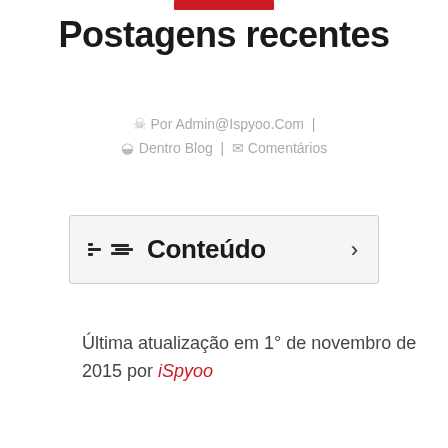Postagens recentes
Por Admin@Ispyoo.Com | Dentro Blog | Comentários
[Figure (other): Table of contents box with list icon, label 'Conteúdo', and right arrow]
Última atualização em 1° de novembro de 2015 por iSpyoo